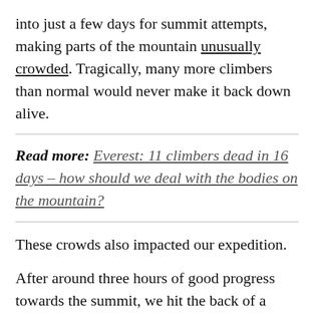into just a few days for summit attempts, making parts of the mountain unusually crowded. Tragically, many more climbers than normal would never make it back down alive.
Read more: Everest: 11 climbers dead in 16 days – how should we deal with the bodies on the mountain?
These crowds also impacted our expedition.
After around three hours of good progress towards the summit, we hit the back of a queue of climbers all clipped to the rope above. Our pace was cut by more than half. Hands and feet began to cool. The fear of frostbite grew. After hours more of shuffling, collective frustration was palpable. Our lead Sherpa (Panuru) – a charismatic veteran of 14 successful